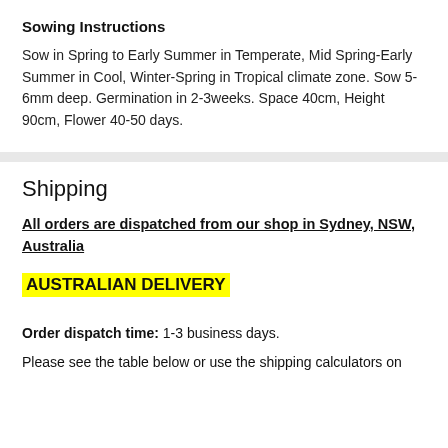Sowing Instructions
Sow in Spring to Early Summer in Temperate, Mid Spring-Early Summer in Cool, Winter-Spring in Tropical climate zone. Sow 5-6mm deep. Germination in 2-3weeks. Space 40cm, Height 90cm, Flower 40-50 days.
Shipping
All orders are dispatched from our shop in Sydney, NSW, Australia
AUSTRALIAN DELIVERY
Order dispatch time: 1-3 business days.
Please see the table below or use the shipping calculators on